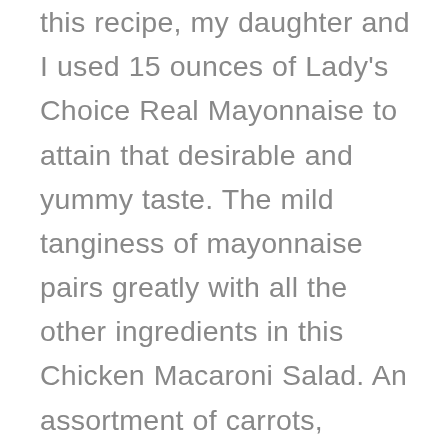this recipe, my daughter and I used 15 ounces of Lady's Choice Real Mayonnaise to attain that desirable and yummy taste. The mild tanginess of mayonnaise pairs greatly with all the other ingredients in this Chicken Macaroni Salad. An assortment of carrots, onions, sweet pickle relish, pineapples, cheddar cheese, and sugar all come together harmoniously for a salad that's light, fruity, and flavorful! A myriad of tastes and joy await you when you prepare this with your loved ones.